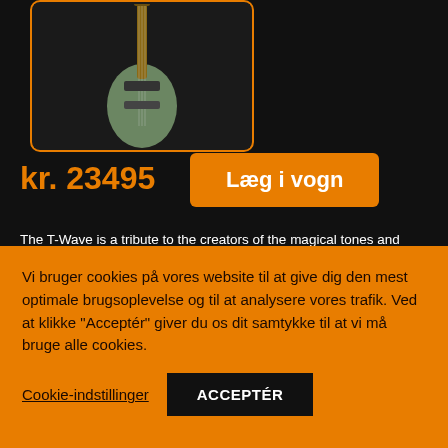[Figure (photo): Electric guitar (green/silver, Telecaster-style) displayed against a dark background inside an orange-bordered rounded rectangle.]
kr. 23495
Læg i vogn
The T-Wave is a tribute to the creators of the magical tones and grooves which set the base for today's popular music.
Following the "Tone-Influent" Shape concept, the T-Wave was designed
Vi bruger cookies på vores website til at give dig den mest optimale brugsoplevelse og til at analysere vores trafik. Ved at klikke "Acceptér" giver du os dit samtykke til at vi må bruge alle cookies.
Cookie-indstillinger
ACCEPTÉR